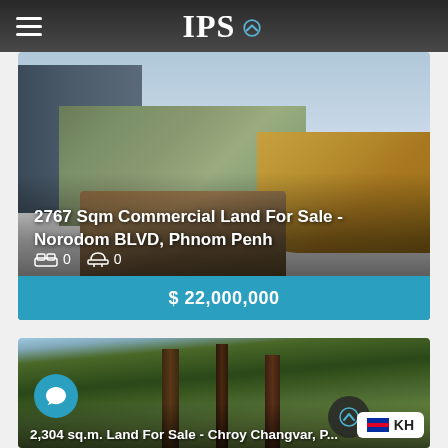IPS
[Figure (photo): Aerial view of Phnom Penh city with river and high-rise buildings]
2767 Sqm Commercial Land For Sale - Norodom BLVD, Phnom Penh
0  0
$ 22,000,000
[Figure (photo): Forest/jungle landscape with tall trees, for land listing in Chroy Changvar]
2,304 sq.m. Land For Sale - Chroy Changvar, P...